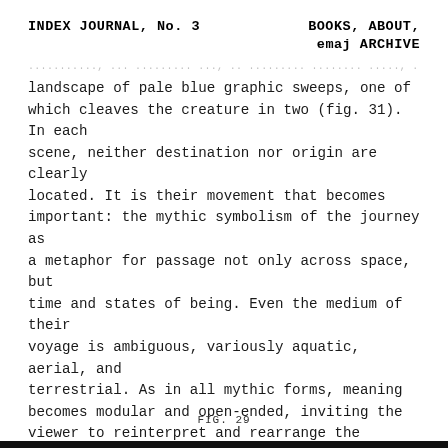INDEX JOURNAL, No. 3    BOOKS, ABOUT, emaj ARCHIVE
landscape of pale blue graphic sweeps, one of which cleaves the creature in two (fig. 31). In each scene, neither destination nor origin are clearly located. It is their movement that becomes important: the mythic symbolism of the journey as a metaphor for passage not only across space, but time and states of being. Even the medium of their voyage is ambiguous, variously aquatic, aerial, and terrestrial. As in all mythic forms, meaning becomes modular and open-ended, inviting the viewer to reinterpret and rearrange the narrative.
FIG. 29